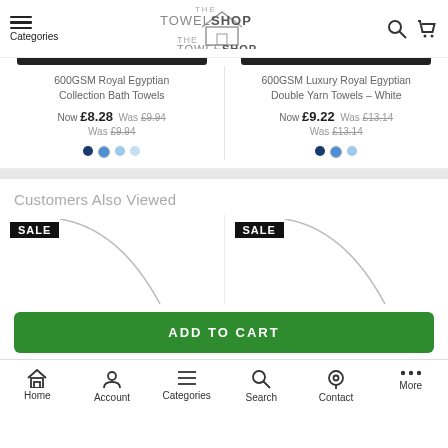The Towel Shop — Categories, Search, Cart
600GSM Royal Egyptian Collection Bath Towels
Now £8.28 Was £9.94
Was £9.94
600GSM Luxury Royal Egyptian Double Yarn Towels – White
Now £9.22 Was £13.14
Was £13.14
Customers Also Viewed
[Figure (screenshot): Two sale product thumbnails with SALE badges and curved image arcs]
ADD TO CART
Home  Account  Categories  Search  Contact  More